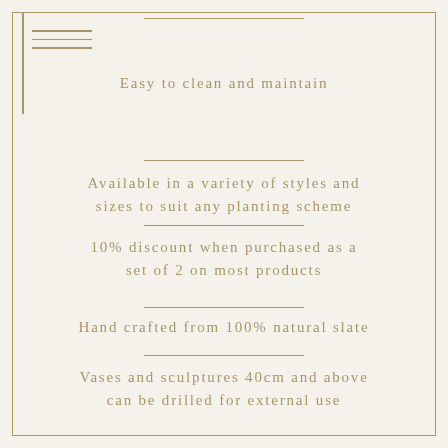Easy to clean and maintain
Available in a variety of styles and sizes to suit any planting scheme
10% discount when purchased as a set of 2 on most products
Hand crafted from 100% natural slate
Vases and sculptures 40cm and above can be drilled for external use